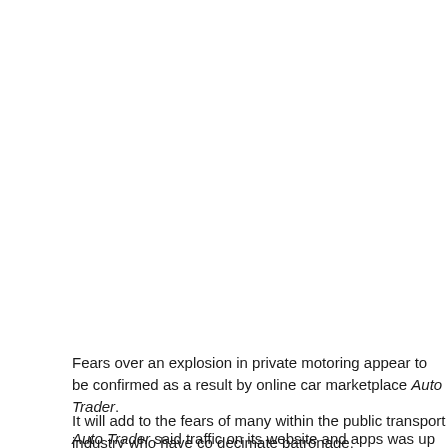Fears over an explosion in private motoring appear to be confirmed as a result by online car marketplace Auto Trader.
It will add to the fears of many within the public transport industry who have come to decimate patronage.
Auto Trader said traffic on its website and apps was up by 29% in June compa